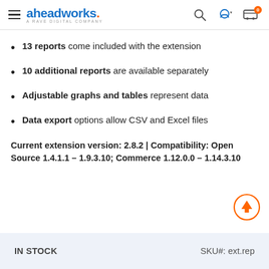aheadworks. A RAVE DIGITAL COMPANY
13 reports come included with the extension
10 additional reports are available separately
Adjustable graphs and tables represent data
Data export options allow CSV and Excel files
Current extension version: 2.8.2 | Compatibility: Open Source 1.4.1.1 – 1.9.3.10; Commerce 1.12.0.0 – 1.14.3.10
IN STOCK   SKU#: ext.rep